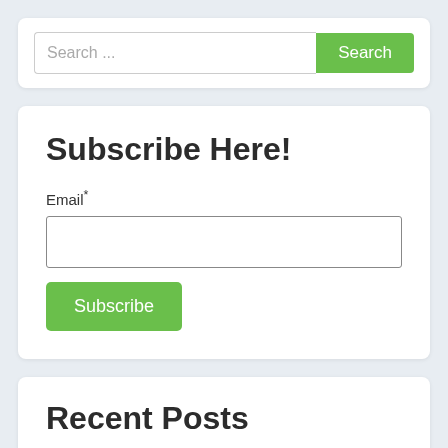Search ...
Search
Subscribe Here!
Email*
Subscribe
Recent Posts